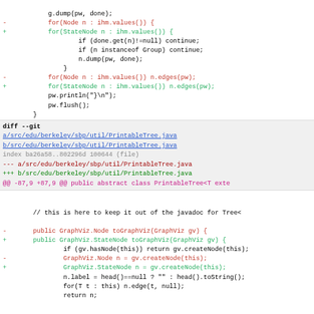Code diff showing changes in GraphViz utility Java files, including StateNode replacements for Node references
[Figure (screenshot): Git diff view of two Java files: GraphVizUtil.java and PrintableTree.java, showing red deleted lines and green added lines replacing Node with StateNode]